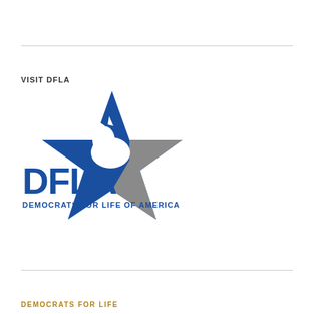VISIT DFLA
[Figure (logo): DFLA - Democrats for Life of America logo. Features a blue star with a white donkey silhouette and gray star shape, with large bold blue letters 'DFLA' below and 'DEMOCRATS FOR LIFE OF AMERICA' in smaller blue text underneath.]
DEMOCRATS FOR LIFE